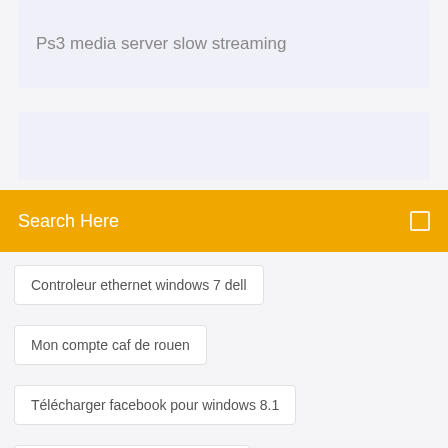Ps3 media server slow streaming
[Figure (screenshot): Partial screenshot of a card area]
Search Here
Controleur ethernet windows 7 dell
Mon compte caf de rouen
Télécharger facebook pour windows 8.1
Amd mise a jour carte graphique
La bataille pour la terre du milieu 2 ne se lance pas
Geogebra software télécharger for windows xp